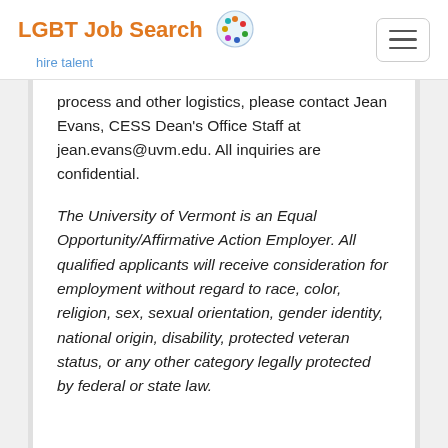LGBT Job Search hire talent
process and other logistics, please contact Jean Evans, CESS Dean's Office Staff at jean.evans@uvm.edu. All inquiries are confidential.
The University of Vermont is an Equal Opportunity/Affirmative Action Employer. All qualified applicants will receive consideration for employment without regard to race, color, religion, sex, sexual orientation, gender identity, national origin, disability, protected veteran status, or any other category legally protected by federal or state law.